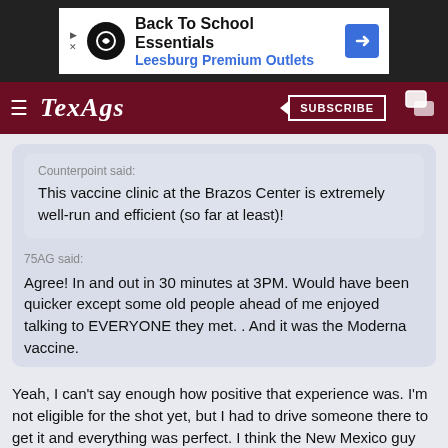[Figure (screenshot): Advertisement banner for Back To School Essentials at Leesburg Premium Outlets]
TexAgs
Counterpoint said:
This vaccine clinic at the Brazos Center is extremely well-run and efficient (so far at least)!
75AG said:

Agree! In and out in 30 minutes at 3PM. Would have been quicker except some old people ahead of me enjoyed talking to EVERYONE they met. . And it was the Moderna vaccine.
Yeah, I can't say enough how positive that experience was. I'm not eligible for the shot yet, but I had to drive someone there to get it and everything was perfect. I think the New Mexico guy did a great job!
BucketofBalls99  7:12a  2/2/21